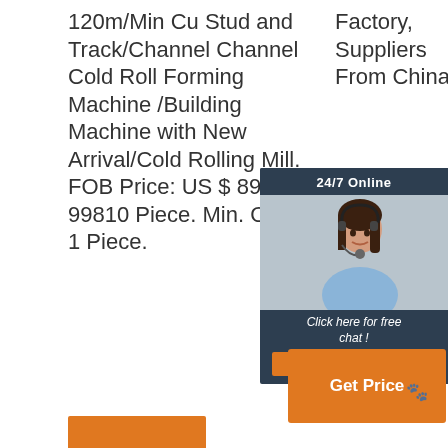120m/Min Cu Stud and Track/Channel Channel Cold Roll Forming Machine /Building Machine with New Arrival/Cold Rolling Mill. FOB Price: US $ 89000-99810 Piece. Min. Order: 1 Piece.
Factory, Suppliers From China,
[Figure (other): Orange 'Get Price' button]
Manufacturers, Factory, Suppliers From C... w... jo... p... a... ar... b... to... +...
[Figure (photo): 24/7 Online chat widget with female customer service agent wearing headset, dark background with 'Click here for free chat!' text and orange QUOTATION button]
[Figure (other): Orange 'Get Price' button with paw print icon (bottom right)]
[Figure (other): Orange button at bottom left (partial)]